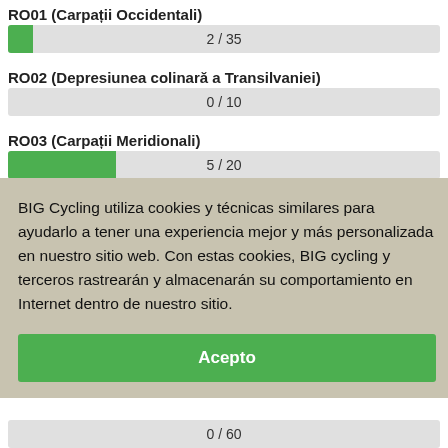RO01 (Carpații Occidentali)
[Figure (other): Progress bar showing 2/35, green fill on left, gray background]
RO02 (Depresiunea colinară a Transilvaniei)
[Figure (other): Progress bar showing 0/10, no green fill, gray background]
RO03 (Carpații Meridionali)
[Figure (other): Progress bar showing 5/20, green fill approximately 25%, gray background]
BIG Cycling utiliza cookies y técnicas similares para ayudarlo a tener una experiencia mejor y más personalizada en nuestro sitio web. Con estas cookies, BIG cycling y terceros rastrearán y almacenarán su comportamiento en Internet dentro de nuestro sitio.
Acepto
[Figure (other): Progress bar showing 0/60, no green fill, gray background]